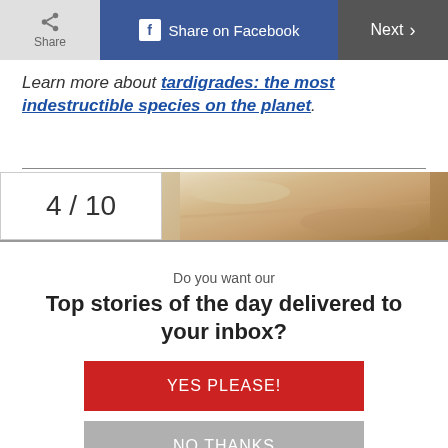Share | Share on Facebook | Next >
Learn more about tardigrades: the most indestructible species on the planet.
4 / 10
[Figure (photo): Close-up photo of what appears to be a bone or rock fragment with a tan/beige color]
Do you want our
Top stories of the day delivered to your inbox?
YES PLEASE!
NO THANKS